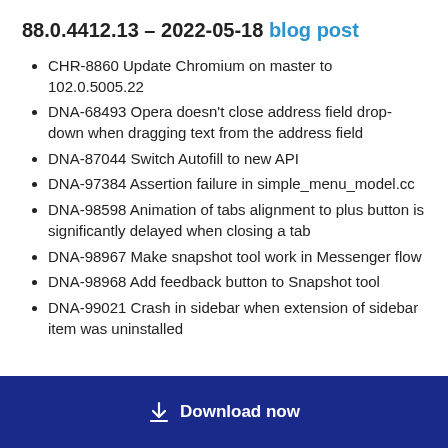88.0.4412.13 – 2022-05-18 blog post
CHR-8860 Update Chromium on master to 102.0.5005.22
DNA-68493 Opera doesn't close address field drop-down when dragging text from the address field
DNA-87044 Switch Autofill to new API
DNA-97384 Assertion failure in simple_menu_model.cc
DNA-98598 Animation of tabs alignment to plus button is significantly delayed when closing a tab
DNA-98967 Make snapshot tool work in Messenger flow
DNA-98968 Add feedback button to Snapshot tool
DNA-99021 Crash in sidebar when extension of sidebar item was uninstalled
Download now